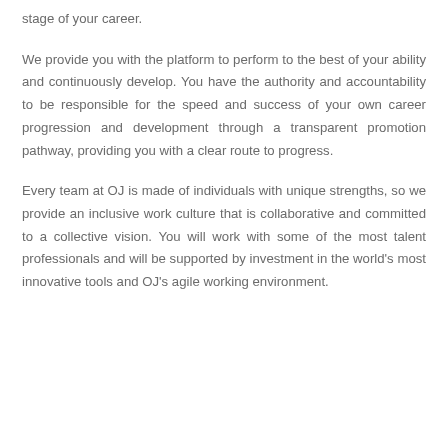stage of your career.
We provide you with the platform to perform to the best of your ability and continuously develop. You have the authority and accountability to be responsible for the speed and success of your own career progression and development through a transparent promotion pathway, providing you with a clear route to progress.
Every team at OJ is made of individuals with unique strengths, so we provide an inclusive work culture that is collaborative and committed to a collective vision. You will work with some of the most talent professionals and will be supported by investment in the world's most innovative tools and OJ's agile working environment.